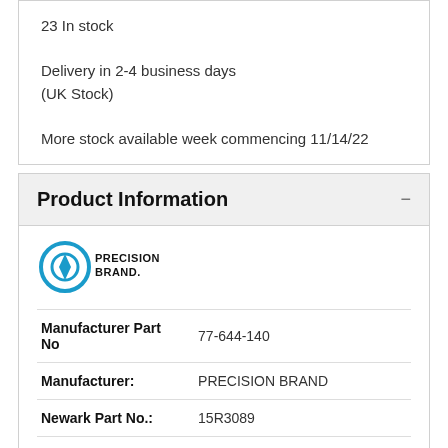23 In stock

Delivery in 2-4 business days
(UK Stock)

More stock available week commencing 11/14/22
Product Information
[Figure (logo): Precision Brand logo with circular icon and bold text]
| Attribute | Value |
| --- | --- |
| Manufacturer Part No | 77-644-140 |
| Manufacturer: | PRECISION BRAND |
| Newark Part No.: | 15R3089 |
| External Diameter: | - |
| Length: | 20" |
| Elongation: | - |